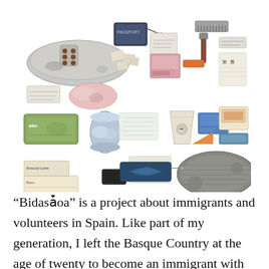[Figure (photo): A flat-lay photograph of various personal items belonging to immigrants: a worn dirty sneaker/shoe, a passport booklet with lanyard, a comb/brush, papers and documents, small pill packets, a sardine tin, a crumpled can, plastic bags, a paper cup, a rubber sole, medication boxes, luggage tags, wrappers, and various small personal effects arranged on a white background.]
“Bidasǡoa” is a project about immigrants and volunteers in Spain. Like part of my generation, I left the Basque Country at the age of twenty to become an immigrant with an